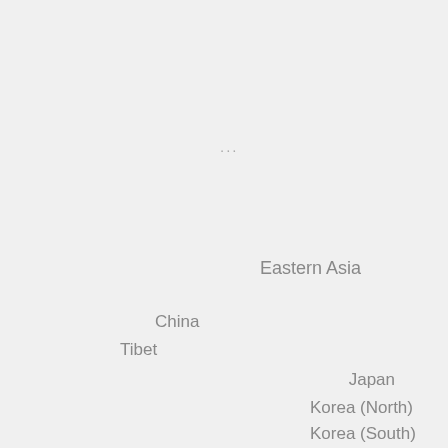...
Eastern Asia
China
Tibet
Japan
Korea (North)
Korea (South)
Mongolia